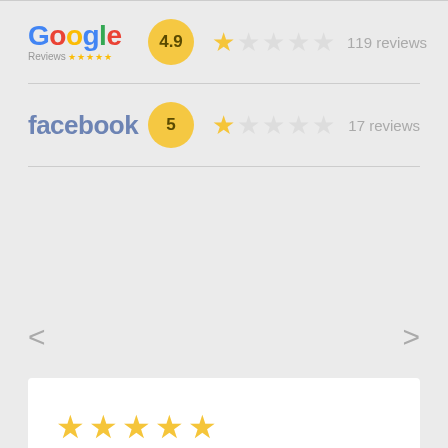[Figure (infographic): Google Reviews row with 4.9 score in yellow circle, star rating display, and 119 reviews count]
[Figure (infographic): Facebook reviews row with score 5 in yellow circle, star rating display, and 17 reviews count]
[Figure (infographic): Navigation arrows left and right for review carousel]
[Figure (infographic): White review card with 5 gold stars rating]